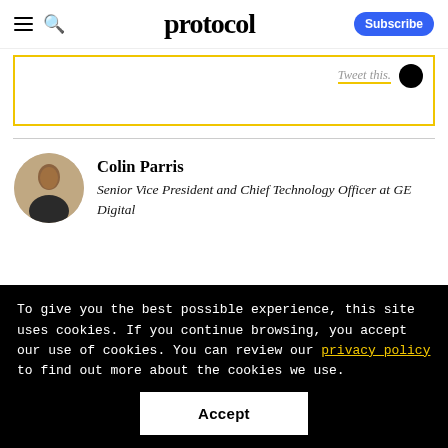protocol
[Figure (screenshot): Tweet this button with italic text and Twitter bird icon in a yellow-bordered box]
Colin Parris
Senior Vice President and Chief Technology Officer at GE Digital
To give you the best possible experience, this site uses cookies. If you continue browsing, you accept our use of cookies. You can review our privacy policy to find out more about the cookies we use.
Accept